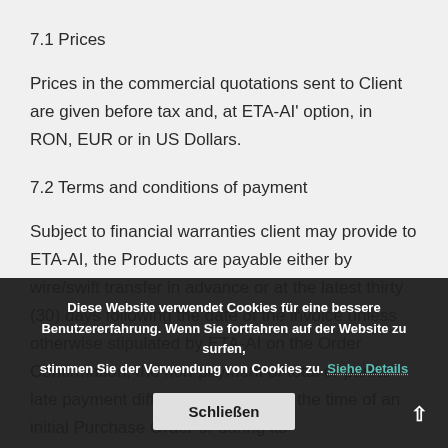7.1 Prices
Prices in the commercial quotations sent to Client are given before tax and, at ETA-AI' option, in RON, EUR or in US Dollars.
7.2 Terms and conditions of payment
Subject to financial warranties client may provide to ETA-AI, the Products are payable either by wire/swift transfer in advance or at the latest thirty (30) days following the date of the invoice unless otherwise stipulated by ETA-AI on the Order Confirmation, the non-payment of total or partial late payment difficulties of Client at the time of an initial Purchase Order or during its
Diese Website verwendet Cookies für eine bessere Benutzererfahrung. Wenn Sie fortfahren auf der Website zu surfen, stimmen Sie der Verwendung von Cookies zu. Siehe Details
Schließen